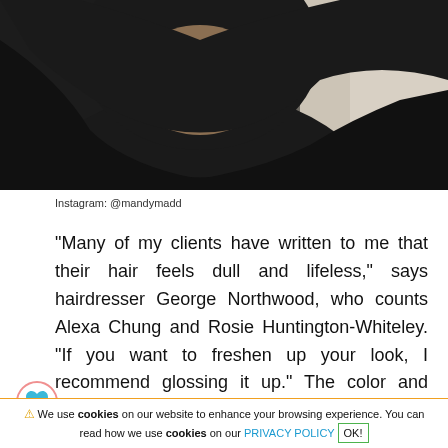[Figure (photo): Close-up photo of a person wearing a black hijab and black turtleneck, face partially visible from nose down, with a watermark reading 'SECRET of GIRLS' on the right side.]
Instagram: @mandymadd
"Many of my clients have written to me that their hair feels dull and lifeless," says hairdresser George Northwood, who counts Alexa Chung and Rosie Huntington-Whiteley. "If you want to freshen up your look, I recommend glossing it up." The color and shine treatment refines the existing hair color and makes it appear fuller. The
⚠ We use cookies on our website to enhance your browsing experience. You can read how we use cookies on our PRIVACY POLICY OK!